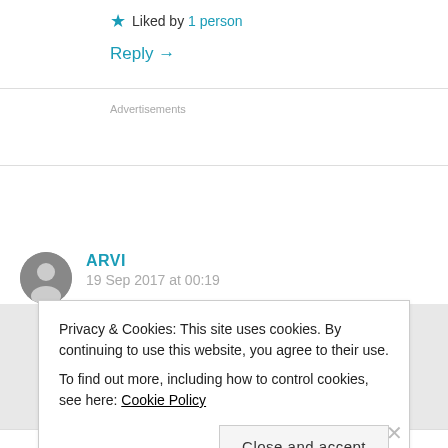★ Liked by 1 person
Reply →
Advertisements
ARVI
19 Sep 2017 at 00:19
Privacy & Cookies: This site uses cookies. By continuing to use this website, you agree to their use.
To find out more, including how to control cookies, see here: Cookie Policy
Close and accept